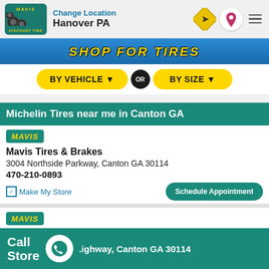Change Location
Hanover PA
[Figure (screenshot): Shop for Tires banner with blue gradient background and yellow italic text]
BY VEHICLE ▼  OR  BY SIZE ▼
Michelin Tires near me in Canton GA
[Figure (logo): Mavis logo badge - teal background with yellow italic MAVIS text]
Mavis Tires & Brakes
3004 Northside Parkway, Canton GA 30114
470-210-0893
✓ Make My Store    Schedule Appointment
[Figure (logo): Mavis logo badge - teal background with yellow italic MAVIS text]
Mavis Tires & Brakes
...highway, Canton GA 30114
Call Store